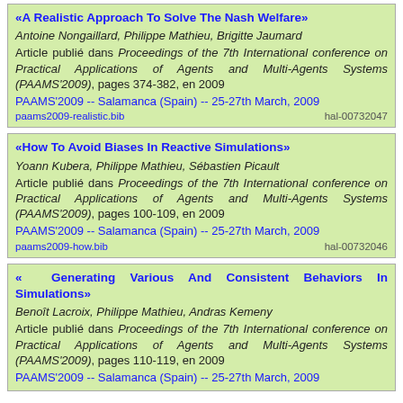«A Realistic Approach To Solve The Nash Welfare» Antoine Nongaillard, Philippe Mathieu, Brigitte Jaumard. Article publié dans Proceedings of the 7th International conference on Practical Applications of Agents and Multi-Agents Systems (PAAMS'2009), pages 374-382, en 2009. PAAMS'2009 -- Salamanca (Spain) -- 25-27th March, 2009. paams2009-realistic.bib hal-00732047
«How To Avoid Biases In Reactive Simulations» Yoann Kubera, Philippe Mathieu, Sébastien Picault. Article publié dans Proceedings of the 7th International conference on Practical Applications of Agents and Multi-Agents Systems (PAAMS'2009), pages 100-109, en 2009. PAAMS'2009 -- Salamanca (Spain) -- 25-27th March, 2009. paams2009-how.bib hal-00732046
«Generating Various And Consistent Behaviors In Simulations» Benoît Lacroix, Philippe Mathieu, Andras Kemeny. Article publié dans Proceedings of the 7th International conference on Practical Applications of Agents and Multi-Agents Systems (PAAMS'2009), pages 110-119, en 2009. PAAMS'2009 -- Salamanca (Spain) -- 25-27th March, 2009.